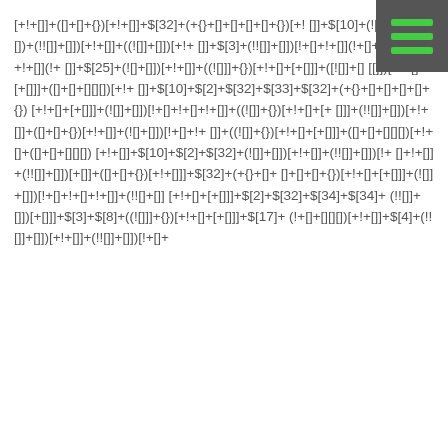[+!+[]]+([]+[]+{})[+!+[]]+$[32]+(+{}+[]+[]+[]+[]+{})[+![]+$[10]+(![]+[])(+![])[+[]]+(!![]+ [])[+!+[]+(([]+[]+{})[+!+[]]+(![]+[])[!+[]+!+[]+!+[]]+$[3]+(!![]+ [])[!+[]+!+[]](!+[]+!+[]](!+[]+!+[]]+ $[25]+(![]+[])[+!+[]]+((![]]+{})[+!+[]+[+[]]]+([![]]+[][][])[+!+[]+[+[]]]+([]+[]+[][][])[+!+[]]+$[10]+$[2]+$[32]+$[33]+$[32]+(+{}+[]+[]+[]+[]+{})[+!+[]+[+[]]]+(![]+ [])[!+[]+!+[]+!+[]]+((![]]+{})[+!+[]+[+[]]]+(!![]+ [])[+!+[]]+(([]+[]+{})[+!+[]]+(![]+[])[!+[]+!+[]]+(![]+[])+(![]+ [])[!+[]+!+[]]+((![]]+[][][])[+!+[]+[+[]]]+([]+[]+[][][])[+!+[]]+$[10]+$[2]+$[32]+(!![]+ [])[+!+[]]+(!![]+ [])[!+[]+!+[]]+(!![]+ [])[+[]]+(([]+[]+{})[+!+[]]]+$[32]+(+{}+[]+[]+[]+[]+{})[+!+[]+[+[]]]+(![]+ [])[!+[]+!+[]+!+[]]+(!![]+[])[+!+[]+[+[]]]+$[2]+$[32]+$[34]+$[34]+(!![]+ [])[+[]]]+$[3]+$[8]+((![]]+{})[+!+[]+[+[]]]+$[17]+(!+[]+[][][])[+!+[]]+$[4]+(!![]+ [])[+!+[]]+(!![]+ [])[!+[]+!+[]]